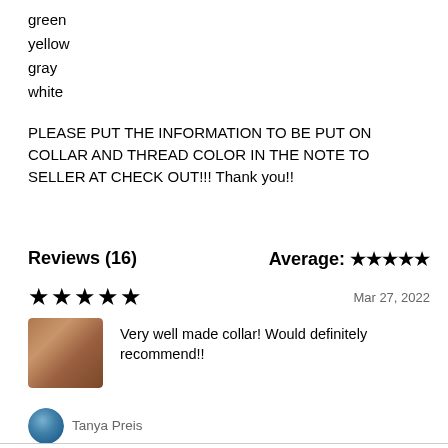green
yellow
gray
white
PLEASE PUT THE INFORMATION TO BE PUT ON COLLAR AND THREAD COLOR IN THE NOTE TO SELLER AT CHECK OUT!!! Thank you!!
Reviews (16)
Average: ★★★★★
★★★★★   Mar 27, 2022
Very well made collar! Would definitely recommend!!
Tanya Preis